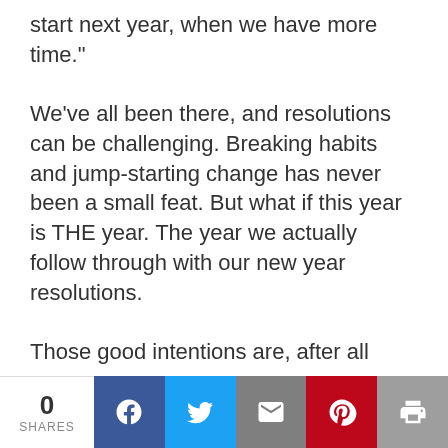start next year, when we have more time."
We’ve all been there, and resolutions can be challenging. Breaking habits and jump-starting change has never been a small feat. But what if this year is THE year. The year we actually follow through with our new year resolutions.
Those good intentions are, after all
0 SHARES | Facebook | Twitter | Email | Pinterest | Print